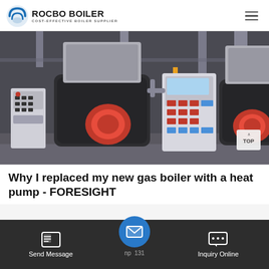ROCBO BOILER — COST-EFFECTIVE BOILER SUPPLIER
[Figure (photo): Industrial boiler room with two large horizontal gas-fired steam boilers, red burners, control panels, and yellow gas pipes.]
Why I replaced my new gas boiler with a heat pump - FORESIGHT
np  131
Send Message
Inquiry Online